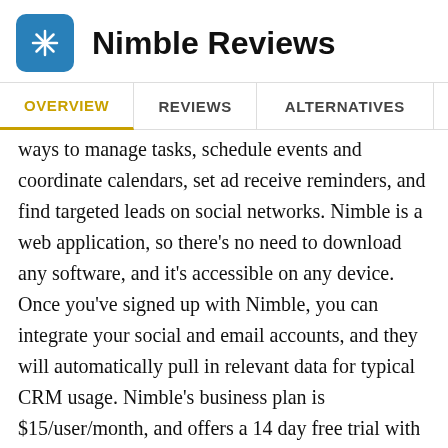Nimble Reviews
OVERVIEW  REVIEWS  ALTERNATIVES
ways to manage tasks, schedule events and coordinate calendars, set ad receive reminders, and find targeted leads on social networks. Nimble is a web application, so there's no need to download any software, and it's accessible on any device. Once you've signed up with Nimble, you can integrate your social and email accounts, and they will automatically pull in relevant data for typical CRM usage. Nimble's business plan is $15/user/month, and offers a 14 day free trial with no credit card required. The amount of data at that price is capped at 5GB per account, however if you find yourself needing more, it is easy enough to add 25 additional